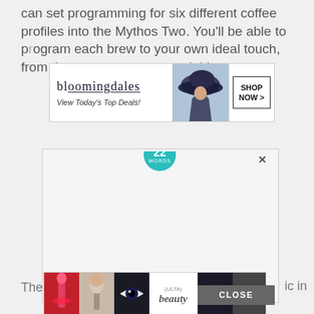can set programming for six different coffee profiles into the Mythos Two. You'll be able to program each brew to your own ideal touch, from time to temperature variables.
[Figure (screenshot): Bloomingdale's advertisement banner with logo, 'View Today's Top Deals!' tagline, woman silhouette with large hat, and 'SHOP NOW >' button]
[Figure (screenshot): 22 Words advertisement featuring '37 BEAUTY PRODUCTS WITH SUCH GOOD REVIEWS YOU MIGHT WANT TO TRY THEM YOURSELF' with image of strawberry and EOS lip balm. Has a close button (X) and CLOSE bar at bottom.]
[Figure (screenshot): ULTA beauty advertisement at bottom with cosmetics images and 'SHOP NOW' button]
The